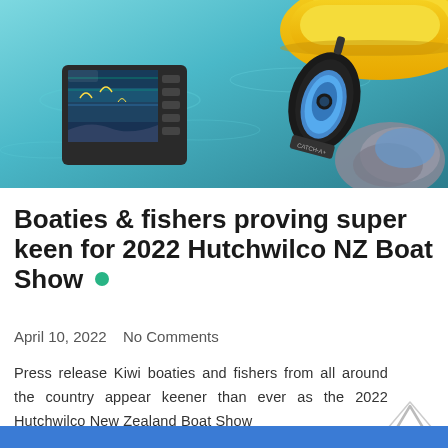[Figure (photo): Product photo showing a fish finder/sonar device display, a yellow kayak, and a transducer or underwater camera device against a teal water background.]
Boaties & fishers proving super keen for 2022 Hutchwilco NZ Boat Show
April 10, 2022  No Comments
Press release Kiwi boaties and fishers from all around the country appear keener than ever as the 2022 Hutchwilco New Zealand Boat Show